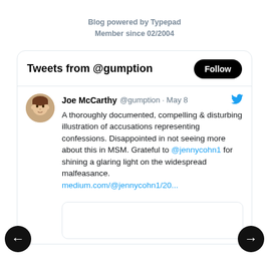Blog powered by Typepad
Member since 02/2004
[Figure (screenshot): Twitter widget showing tweets from @gumption with a Follow button, and a tweet by Joe McCarthy (@gumption) dated May 8 about a documented illustration of accusations. Navigation arrows on left and right.]